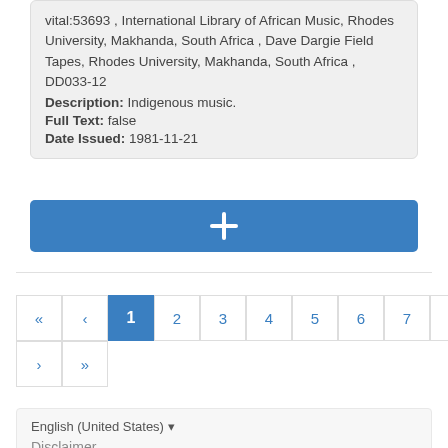vital:53693 , International Library of African Music, Rhodes University, Makhanda, South Africa , Dave Dargie Field Tapes, Rhodes University, Makhanda, South Africa , DD033-12 Description: Indigenous music. Full Text: false Date Issued: 1981-11-21
[Figure (other): Blue button with plus sign for adding item]
[Figure (other): Pagination control showing pages 1-10 with navigation arrows, page 1 is active/selected in blue]
English (United States) ▼
Disclaimer